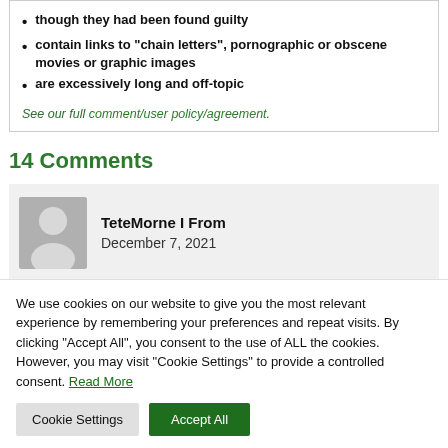though they had been found guilty
contain links to "chain letters", pornographic or obscene movies or graphic images
are excessively long and off-topic
See our full comment/user policy/agreement.
14 Comments
TeteMorne I From
December 7, 2021
We use cookies on our website to give you the most relevant experience by remembering your preferences and repeat visits. By clicking “Accept All”, you consent to the use of ALL the cookies. However, you may visit "Cookie Settings" to provide a controlled consent. Read More